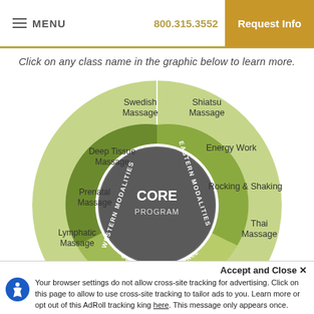MENU | 800.315.3552 | Request Info
Click on any class name in the graphic below to learn more.
[Figure (infographic): Circular diagram showing massage therapy program curriculum. Center dark gray circle labeled 'CORE PROGRAM'. Three surrounding inner wedge sections labeled 'WESTERN MODALITIES', 'EASTERN MODALITIES', and partially visible 'BUSINESS' and 'SCIENCE'. Outer light green ring contains class names: Swedish Massage, Shiatsu Massage, Deep Tissue Massage, Energy Work, Prenatal Massage, Rocking & Shaking, Lymphatic Massage, Thai Massage, Sports Massage, Traditional Chinese Medicine, Hot Stone Massage, Acupressure, Aromatherapy & Spa Life, Hand & Foot Reflexology. Bottom sections partially cut off.]
Accept and Close ✕
Your browser settings do not allow cross-site tracking for advertising. Click on this page to allow to use cross-site tracking to tailor ads to you. Learn more or opt out of this AdRoll tracking king here. This message only appears once.